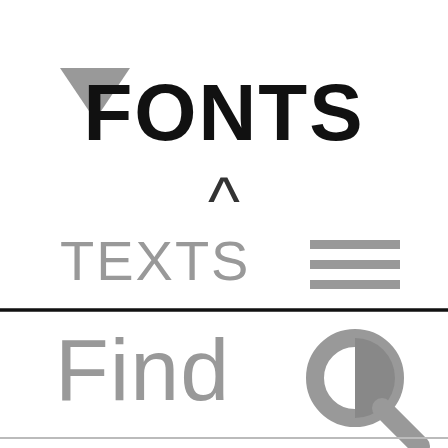[Figure (screenshot): UI panel showing a gray chevron/down-arrow icon on the left and bold black text 'FONTS' on the right, with a caret/up-arrow symbol below center, and gray text 'TEXTS' with a hamburger/menu icon (three gray horizontal lines) below that. Below a thick black divider, gray text 'Find' with a gray search magnifier icon. A thin gray line at the bottom.]